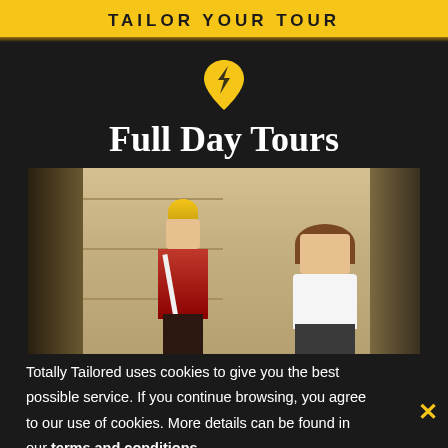[Figure (screenshot): Yellow banner with bold dark text 'TAILOR YOUR TOUR' at the top of the page]
[Figure (logo): Yellow location pin / map marker icon with a lightning bolt design]
Full Day Tours
[Figure (photo): Photo of a tourist posing with a mounted royal guard in ceremonial uniform with red jacket and golden helmet, against a stone wall background]
Totally Tailored uses cookies to give you the best possible service. If you continue browsing, you agree to our use of cookies. More details can be found in our terms and conditions.